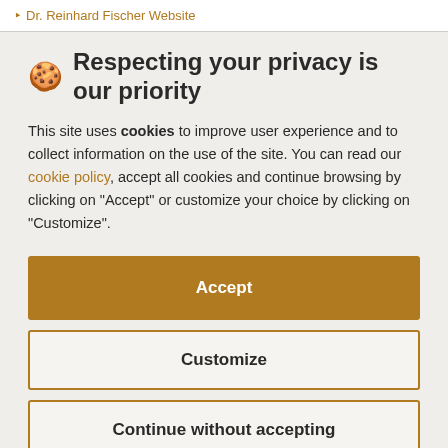Dr. Reinhard Fischer Website
🍪 Respecting your privacy is our priority
This site uses cookies to improve user experience and to collect information on the use of the site. You can read our cookie policy, accept all cookies and continue browsing by clicking on "Accept" or customize your choice by clicking on "Customize".
Accept
Customize
Continue without accepting